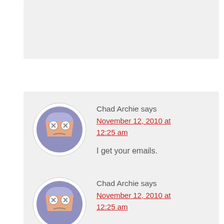[Figure (other): Top partial comment block, light gray background, cropped]
Chad Archie says
November 12, 2010 at 12:25 am
I get your emails.
Chad Archie says
November 12, 2010 at 12:25 am